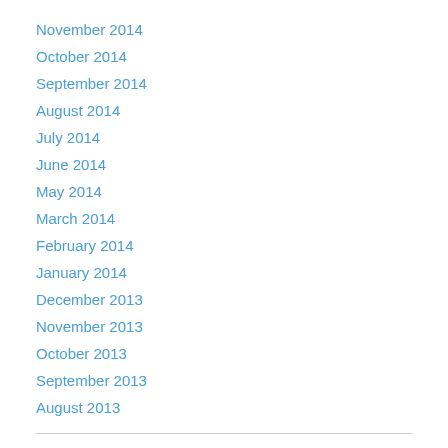November 2014
October 2014
September 2014
August 2014
July 2014
June 2014
May 2014
March 2014
February 2014
January 2014
December 2013
November 2013
October 2013
September 2013
August 2013
Categories
31 Days of SSMS